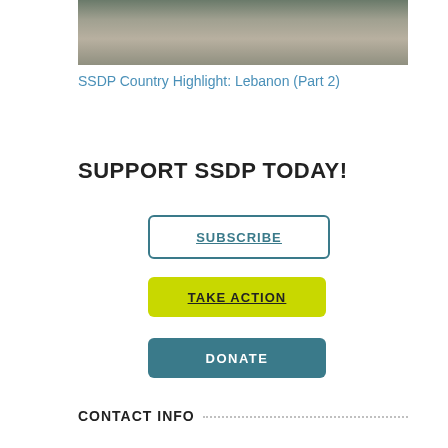[Figure (photo): Partial photo of a rocky or concrete ground surface, cropped at the top of the page]
SSDP Country Highlight: Lebanon (Part 2)
SUPPORT SSDP TODAY!
SUBSCRIBE
TAKE ACTION
DONATE
CONTACT INFO